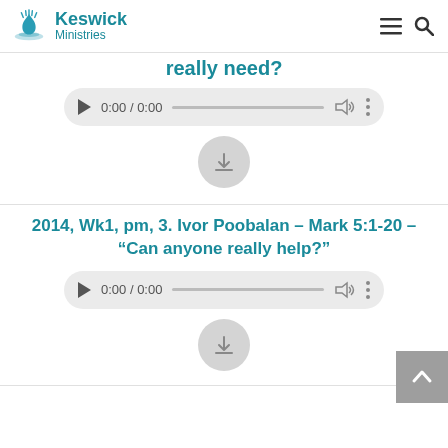Keswick Ministries
really need?
[Figure (screenshot): Audio player control showing 0:00 / 0:00 with play button, progress bar, volume icon, and more options icon]
[Figure (screenshot): Download/share circle button]
2014, Wk1, pm, 3. Ivor Poobalan – Mark 5:1-20 – "Can anyone really help?"
[Figure (screenshot): Audio player control showing 0:00 / 0:00 with play button, progress bar, volume icon, and more options icon]
[Figure (screenshot): Download/share circle button]